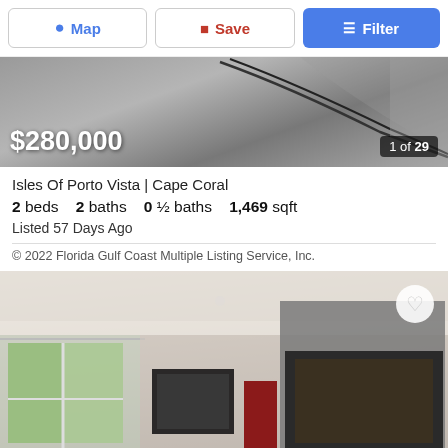Map | Save | Filter
[Figure (photo): Hero listing photo showing ceiling/wall area with cables, price overlay $280,000 and image counter 1 of 29]
$280,000
1 of 29
Isles Of Porto Vista | Cape Coral
2 beds   2 baths   0 ½ baths   1,469 sqft
Listed 57 Days Ago
© 2022 Florida Gulf Coast Multiple Listing Service, Inc.
[Figure (photo): Interior living room photo showing sliding glass doors with greenery outside, a painting on the wall, a large TV, and a red door]